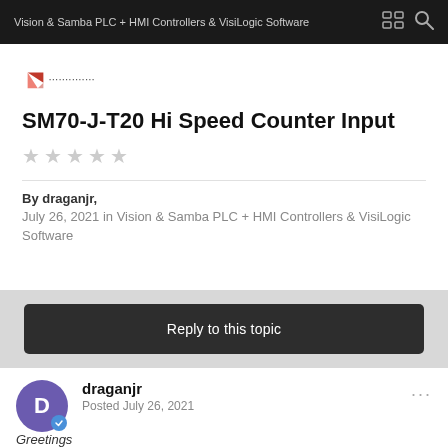Vision & Samba PLC + HMI Controllers & VisiLogic Software
[Figure (logo): Unitronics logo with red geometric shape and text partially visible]
SM70-J-T20 Hi Speed Counter Input
Star rating: 0 out of 5 (empty stars)
By draganjr,
July 26, 2021 in Vision & Samba PLC + HMI Controllers & VisiLogic Software
Reply to this topic
draganjr
Posted July 26, 2021
Greetings